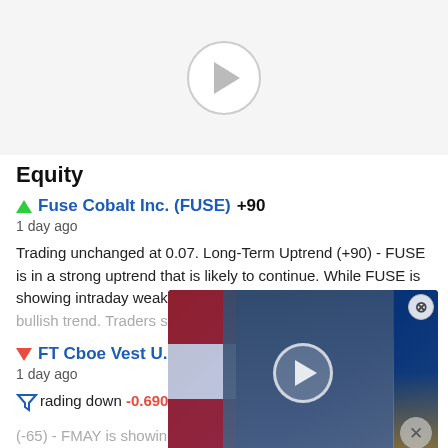[Figure (screenshot): Video player placeholder at top with play button circle]
Equity
▲ Fuse Cobalt Inc. (FUSE) +90
1 day ago
Trading unchanged at 0.07. Long-Term Uptrend (+90) - FUSE is in a strong uptrend that is likely to continue. While FUSE is showing intraday weakness, it rem... in the... fi... of a bullish trend. Traders should use caution a...
▼ FT Cboe Vest U.S. Equity Buf...
1 day ago
Trading down -0.6900 (-1.90%) at...
(-65) - FMAY is showing signs of a strengthening downtrend. Monitor FMAY as it may be building momentum to the do
Index
S&P/ASX Corporate Bond 0-20 Year Index (SPBAC20T)
[Figure (screenshot): Embedded video overlay showing a man in a suit speaking at a podium with American flag, with play button and close buttons]